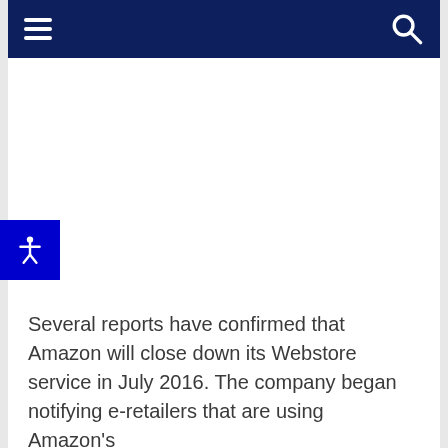Navigation bar with hamburger menu and search icon
Several reports have confirmed that Amazon will close down its Webstore service in July 2016. The company began notifying e-retailers that are using Amazon's